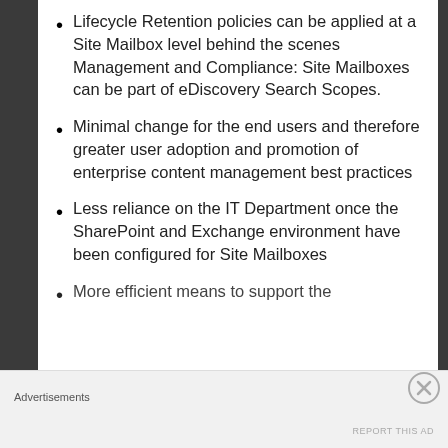Lifecycle Retention policies can be applied at a Site Mailbox level behind the scenes Management and Compliance: Site Mailboxes can be part of eDiscovery Search Scopes.
Minimal change for the end users and therefore greater user adoption and promotion of enterprise content management best practices
Less reliance on the IT Department once the SharePoint and Exchange environment have been configured for Site Mailboxes
More efficient means to support the
Advertisements